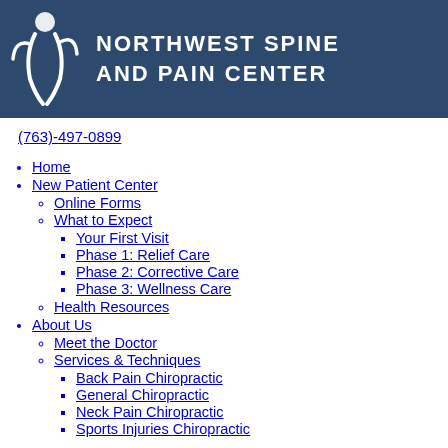[Figure (logo): Northwest Spine and Pain Center logo with white figure/person icon on dark blue banner background, text reads NORTHWEST SPINE AND PAIN CENTER]
(763)-497-0899
Home
New Patient Center
Online Forms
What to Expect
Your First Visit
Phase 1: Relief Care
Phase 2: Corrective Care
Phase 3: Wellness Care
Health Resources
About Us
Meet the Doctor
Services & Techniques
Back Pain Chiropractic
General Chiropractic
Neck Pain Chiropractic
Sports Injuries Chiropractic